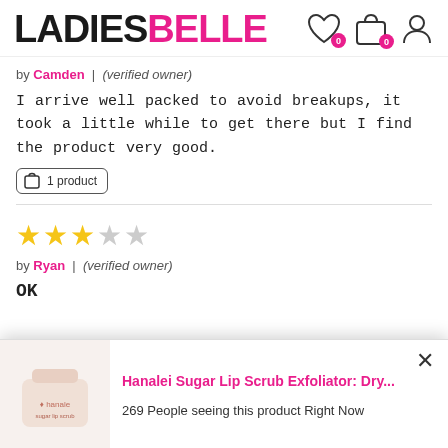LADIESBELLE
by Camden | (verified owner)
I arrive well packed to avoid breakups, it took a little while to get there but I find the product very good.
1 product
[Figure (other): 3-star rating (3 filled stars, 2 empty stars)]
by Ryan | (verified owner)
OK
[Figure (other): Popup notification showing Hanalei Sugar Lip Scrub Exfoliator product with text: 269 People seeing this product Right Now]